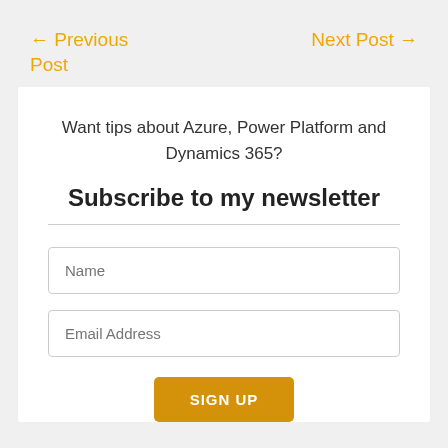← Previous Post
Next Post →
Want tips about Azure, Power Platform and Dynamics 365?
Subscribe to my newsletter